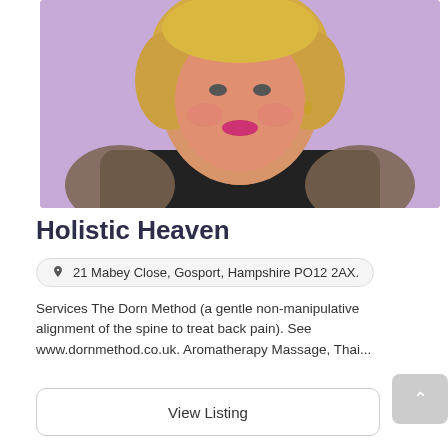[Figure (photo): Portrait photo of a blonde woman with short hair, wearing a black top with leopard print sleeves, against a light purple/lavender background]
Holistic Heaven
21 Mabey Close, Gosport, Hampshire PO12 2AX.
Services The Dorn Method (a gentle non-manipulative alignment of the spine to treat back pain). See www.dornmethod.co.uk. Aromatherapy Massage, Thai...
View Listing